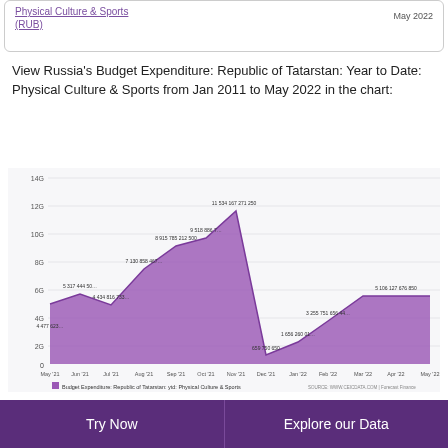Physical Culture & Sports (RUB)  May 2022
View Russia's Budget Expenditure: Republic of Tatarstan: Year to Date: Physical Culture & Sports from Jan 2011 to May 2022 in the chart:
[Figure (area-chart): Budget Expenditure: Republic of Tatarstan: ytd: Physical Culture & Sports]
Budget Expenditure: Republic of Tatarstan: ytd: Physical Culture & Sports | SOURCE: WWW.CEICDATA.COM | Forecast Finance
Budget Expenditure: Republic of Tatarstan: Year
Try Now
Explore our Data